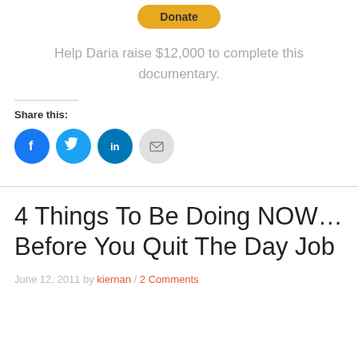[Figure (other): Donate button — yellow rounded rectangle with bold 'Donate' text]
Help Daria raise $12,000 to complete this documentary.
Share this:
[Figure (other): Social sharing icons: Facebook (blue), Twitter (blue), LinkedIn (blue), Email (grey)]
4 Things To Be Doing NOW… Before You Quit The Day Job
June 12, 2011 by kiernan / 2 Comments